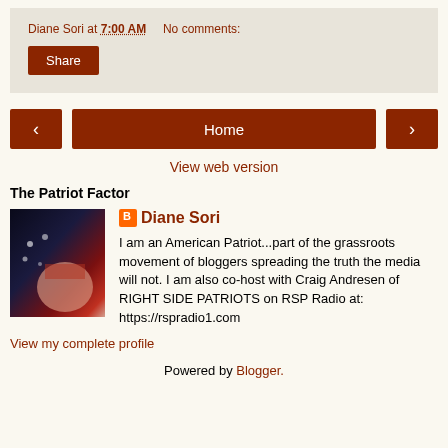Diane Sori at 7:00 AM   No comments:
Share
[Figure (other): Navigation bar with left arrow, Home button, and right arrow]
View web version
The Patriot Factor
[Figure (photo): Profile photo of Diane Sori - face partially covered with American flag]
Diane Sori
I am an American Patriot...part of the grassroots movement of bloggers spreading the truth the media will not. I am also co-host with Craig Andresen of RIGHT SIDE PATRIOTS on RSP Radio at: https://rspradio1.com
View my complete profile
Powered by Blogger.